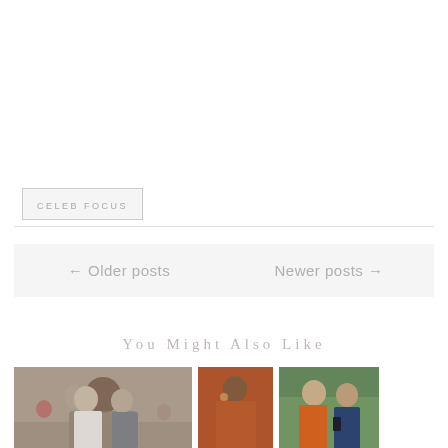CELEB FOCUS
← Older posts
Newer posts →
You Might Also Like
[Figure (photo): Two people at an event, woman in white and man in grey suit, smiling]
[Figure (photo): Person in rust/orange outfit against orange background]
[Figure (photo): Two men smiling, one wearing orange, outdoors with plants]